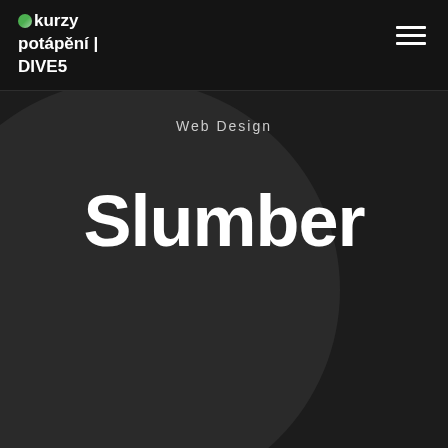kurzy potápění | DIVE5
Web Design
Slumber